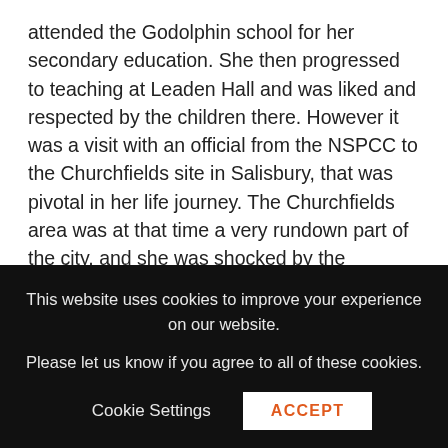attended the Godolphin school for her secondary education. She then progressed to teaching at Leaden Hall and was liked and respected by the children there. However it was a visit with an official from the NSPCC to the Churchfields site in Salisbury, that was pivotal in her life journey. The Churchfields area was at that time a very rundown part of the city, and she was shocked by the appalling housing, poverty and poor quality of life that she witnessed there. She resolved to make changes in whatever way she could from that day onwards, and that
This website uses cookies to improve your experience on our website. Please let us know if you agree to all of these cookies.
Cookie Settings  ACCEPT